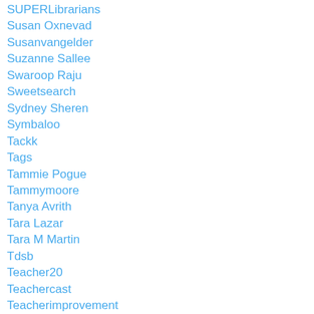SUPERLibrarians
Susan Oxnevad
Susanvangelder
Suzanne Sallee
Swaroop Raju
Sweetsearch
Sydney Sheren
Symbaloo
Tackk
Tags
Tammie Pogue
Tammymoore
Tanya Avrith
Tara Lazar
Tara M Martin
Tdsb
Teacher20
Teachercast
Teacherimprovement
Teacher-librarian
TeacherLists